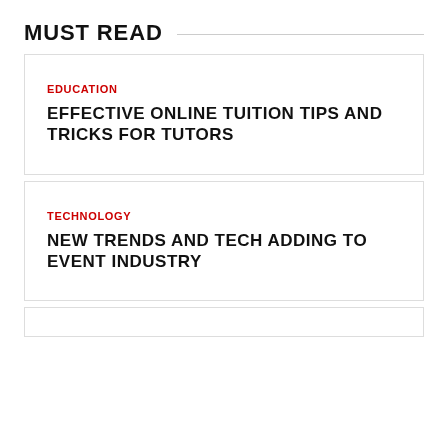MUST READ
EDUCATION
EFFECTIVE ONLINE TUITION TIPS AND TRICKS FOR TUTORS
TECHNOLOGY
NEW TRENDS AND TECH ADDING TO EVENT INDUSTRY